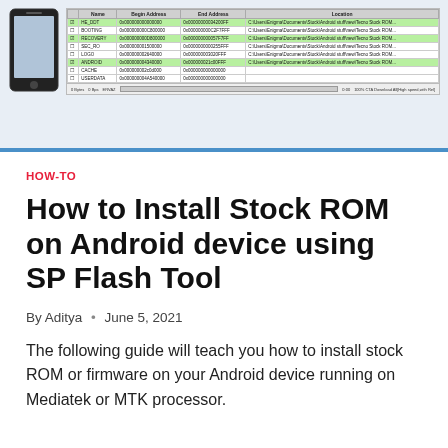[Figure (screenshot): Screenshot of SP Flash Tool showing a partition table with entries like HE_DDT, BOOTING, RECOVERY, SEC_RO, LOGO, ANDROID, CACHE, USERDATA. Some rows are checked (highlighted green). A phone device image is shown to the left. A progress bar is at the bottom.]
HOW-TO
How to Install Stock ROM on Android device using SP Flash Tool
By Aditya  •  June 5, 2021
The following guide will teach you how to install stock ROM or firmware on your Android device running on Mediatek or MTK processor.